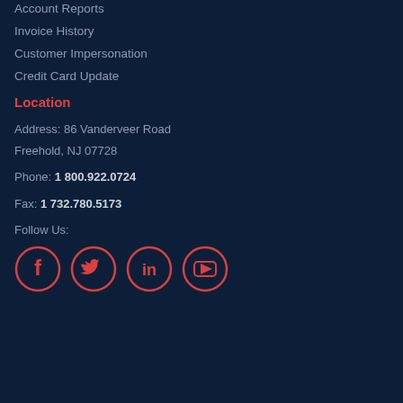Account Reports
Invoice History
Customer Impersonation
Credit Card Update
Location
Address: 86 Vanderveer Road
Freehold, NJ 07728
Phone: 1 800.922.0724
Fax: 1 732.780.5173
Follow Us:
[Figure (illustration): Four social media icons (Facebook, Twitter, LinkedIn, YouTube) in red circles on dark background]